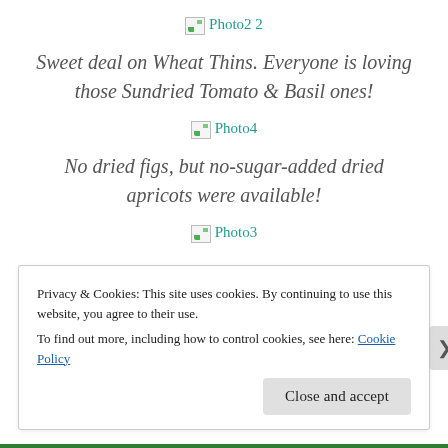[Figure (photo): Broken image placeholder labeled Photo2 2]
Sweet deal on Wheat Thins. Everyone is loving those Sundried Tomato & Basil ones!
[Figure (photo): Broken image placeholder labeled Photo4]
No dried figs, but no-sugar-added dried apricots were available!
[Figure (photo): Broken image placeholder labeled Photo3]
Privacy & Cookies: This site uses cookies. By continuing to use this website, you agree to their use.
To find out more, including how to control cookies, see here: Cookie Policy